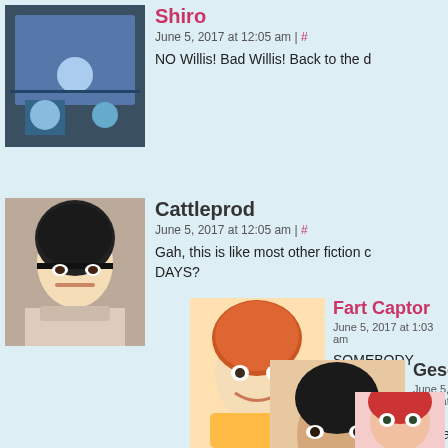Shiro — June 5, 2017 at 12:05 am | # — NO Willis! Bad Willis! Back to the d
Cattleprod — June 5, 2017 at 12:05 am | # — Gah, this is like most other fiction c DAYS?
Fart Captor — June 5, 2017 at 1:03 am — SOMEBODY CHECK
Gesc — June 5, 2017 at 2:16 — Prepare your oca
MatthewThe — June 5, 2017 at